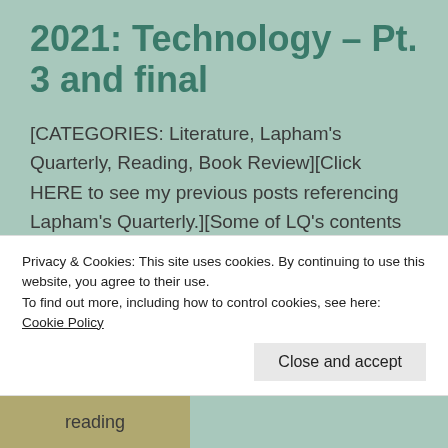2021: Technology – Pt. 3 and final
[CATEGORIES: Literature, Lapham's Quarterly, Reading, Book Review][Click HERE to see my previous posts referencing Lapham's Quarterly.][Some of LQ's contents are available free.][L.Q. cover, quotes, and images are from Lapham's Quarterly Winter 2021: Technology, unless noted.][Click or right-click on a photo
Privacy & Cookies: This site uses cookies. By continuing to use this website, you agree to their use.
To find out more, including how to control cookies, see here: Cookie Policy
Close and accept
reading